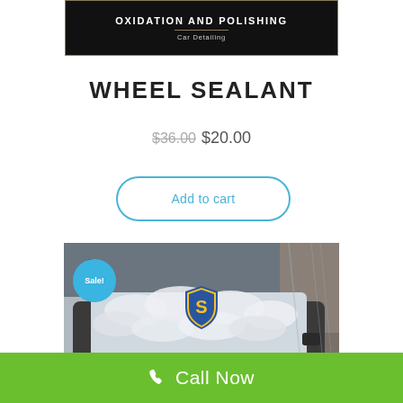[Figure (logo): Black banner with gold border showing 'OXIDATION AND POLISHING' and 'Car Detailing' subtitle]
WHEEL SEALANT
$36.00 $20.00
Add to cart
[Figure (photo): Car being washed with foam, shield logo on windshield, Sale! badge in blue circle]
Call Now